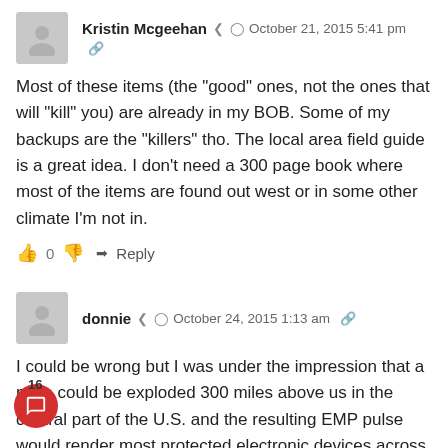[Figure (other): User avatar placeholder (gray silhouette) for Kristin Mcgeehan]
Kristin Mcgeehan  ◀  ⏱ October 21, 2015 5:41 pm  🔗
Most of these items (the "good" ones, not the ones that will "kill" you) are already in my BOB. Some of my backups are the "killers" tho. The local area field guide is a great idea. I don't need a 300 page book where most of the items are found out west or in some other climate I'm not in.
👍 0 👎  ➜ Reply
[Figure (other): User avatar placeholder (gray silhouette) for donnie]
donnie  ◀  ⏱ October 24, 2015 1:13 am  🔗
I could be wrong but I was under the impression that a nuke could be exploded 300 miles above us in the central part of the U.S. and the resulting EMP pulse would render most protected electronic devices across most of the U.S. Inoperative. This is what I was referring to in my original